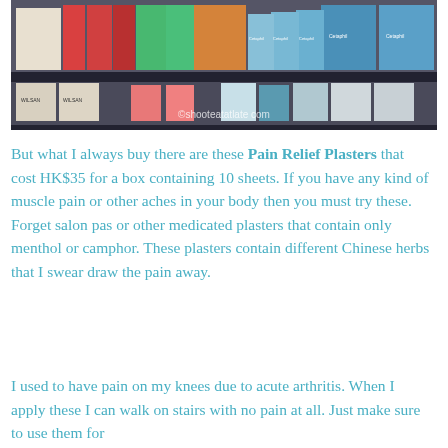[Figure (photo): Photo of pharmacy shelves stocked with various skincare and medical products including multiple Cetaphil boxes and other packaged products. Watermark reads ©shooteatatlate.com]
But what I always buy there are these Pain Relief Plasters that cost HK$35 for a box containing 10 sheets. If you have any kind of muscle pain or other aches in your body then you must try these. Forget salon pas or other medicated plasters that contain only menthol or camphor. These plasters contain different Chinese herbs that I swear draw the pain away.
I used to have pain on my knees due to acute arthritis. When I apply these I can walk on stairs with no pain at all. Just make sure to use them for